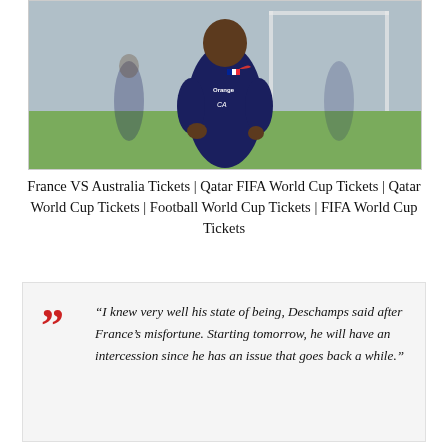[Figure (photo): A football player wearing a dark navy blue French national team training jacket with 'Orange' sponsor logo and Crédit Agricole logo, walking on a pitch. The player's face is partially visible.]
France VS Australia Tickets | Qatar FIFA World Cup Tickets | Qatar World Cup Tickets | Football World Cup Tickets | FIFA World Cup Tickets
“I knew very well his state of being, Deschamps said after France’s misfortune. Starting tomorrow, he will have an intercession since he has an issue that goes back a while.”